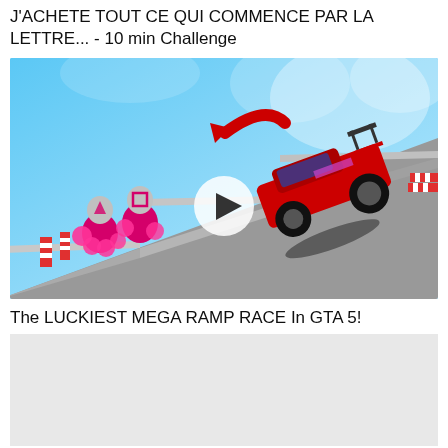J'ACHETE TOUT CE QUI COMMENCE PAR LA LETTRE... - 10 min Challenge
[Figure (screenshot): YouTube video thumbnail showing a red racing car on a mega ramp in GTA 5, with Squid Game characters (pink guards with triangle and square masks) on the left, a large red arrow pointing at the car, and a play button overlay in the center. Blue icy/snowy background at top, gray ramp surface, red-and-white barriers on edges.]
The LUCKIEST MEGA RAMP RACE In GTA 5!
[Figure (screenshot): Partially visible YouTube video thumbnail, mostly light gray/white background.]